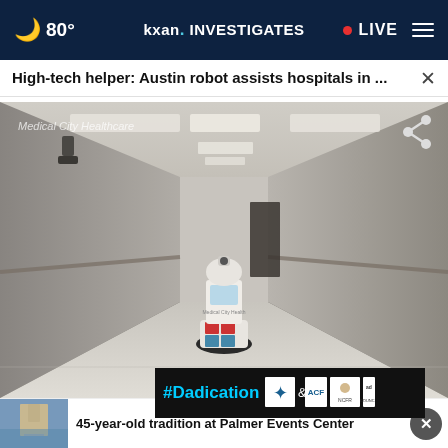🌙 80° kxan. INVESTIGATES • LIVE ☰
High-tech helper: Austin robot assists hospitals in ...
[Figure (screenshot): Hospital corridor with a medical robot (Medical City Healthcare) navigating a hallway. A share icon is visible in the top right. Medical City Healthcare watermark text in upper left.]
45-year-old tradition at Palmer Events Center
[Figure (photo): Small thumbnail image showing what appears to be a building]
#Dadication
stop burnout